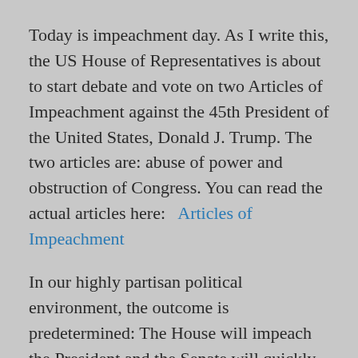Today is impeachment day. As I write this, the US House of Representatives is about to start debate and vote on two Articles of Impeachment against the 45th President of the United States, Donald J. Trump. The two articles are: abuse of power and obstruction of Congress. You can read the actual articles here:   Articles of Impeachment
In our highly partisan political environment, the outcome is predetermined: The House will impeach the President and the Senate will quickly acquit him. So how did this happen?
On July 25th of this year, President Trump called the newly elected President of the...